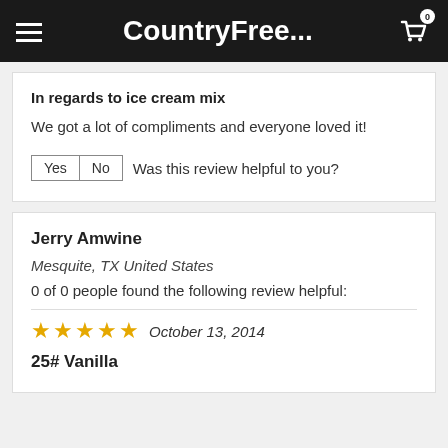CountryFree...
In regards to ice cream mix
We got a lot of compliments and everyone loved it!
Yes  No  Was this review helpful to you?
Jerry Amwine
Mesquite, TX United States
0 of 0 people found the following review helpful:
★★★★★ October 13, 2014
25# Vanilla